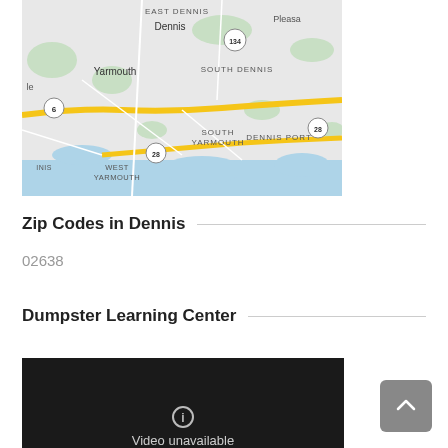[Figure (map): Google Maps view showing Dennis, South Dennis, East Dennis, Yarmouth, South Yarmouth, West Yarmouth, Dennis Port areas of Cape Cod, Massachusetts. Route 6 and Route 28 highways are visible as yellow lines.]
Zip Codes in Dennis
02638
Dumpster Learning Center
[Figure (screenshot): Video player showing 'Video unavailable' message on dark background with info icon.]